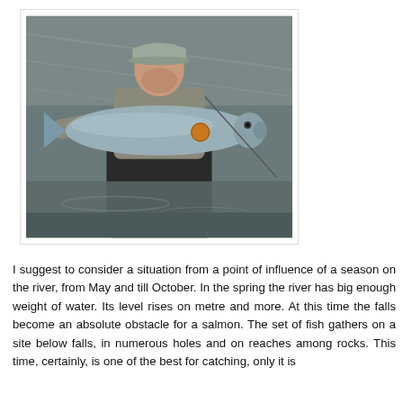[Figure (photo): A man wearing a grey cap and waders standing in a river, holding a large salmon fish with both arms outstretched. He is holding a fishing rod. The background shows rocky river water.]
I suggest to consider a situation from a point of influence of a season on the river, from May and till October. In the spring the river has big enough weight of water. Its level rises on metre and more. At this time the falls become an absolute obstacle for a salmon. The set of fish gathers on a site below falls, in numerous holes and on reaches among rocks. This time, certainly, is one of the best for catching, only it is